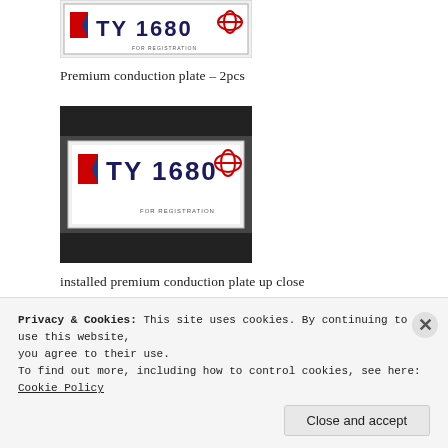[Figure (photo): Philippine premium conduction plate showing TY 1680 with Toyota logo and FOR REGISTRATION text]
Premium conduction plate – 2pcs
[Figure (photo): Installed premium conduction plate TY 1680 on a vehicle bumper, up close view]
installed premium conduction plate up close
[Figure (photo): White Toyota vehicle with installed conduction plate, front view in a garage]
Privacy & Cookies: This site uses cookies. By continuing to use this website, you agree to their use.
To find out more, including how to control cookies, see here: Cookie Policy